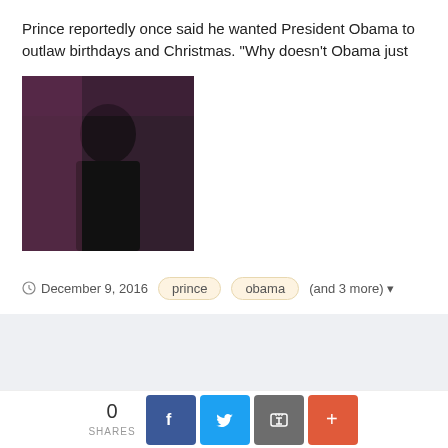Prince reportedly once said he wanted President Obama to outlaw birthdays and Christmas. "Why doesn't Obama just
[Figure (photo): Photo of Prince performing, dark background with pink/purple lighting]
December 9, 2016   prince   obama   (and 3 more)
Important Information
Terms of Service Confirmation Terms of Use Privacy Policy Guidelines We have placed cookies on your device to help make this website better. You can adjust your cookie settings, otherwise we'll assume you're okay to continue.
0 SHARES